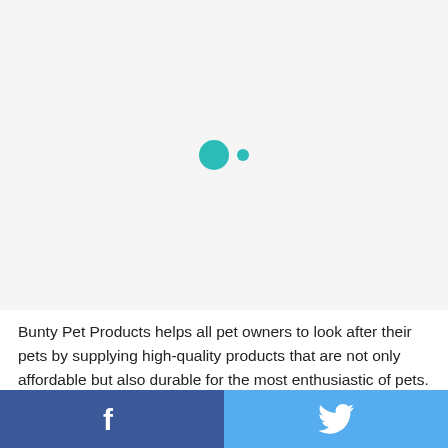[Figure (other): Loading indicator with two teal circles (one large, one small dot) on a light gray background]
Bunty Pet Products helps all pet owners to look after their pets by supplying high-quality products that are not only affordable but also durable for the most enthusiastic of pets. All of the products go through heavy testing by pets to ensure the very best quality for
[Figure (other): Social media share bar with Facebook button (dark blue with f icon) on left and Twitter button (light blue with bird icon) on right]